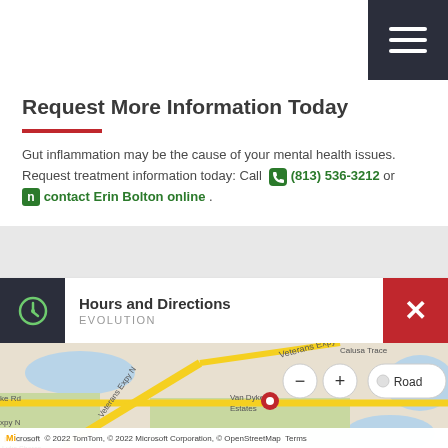Request More Information Today
Gut inflammation may be the cause of your mental health issues. Request treatment information today: Call (813) 536-3212 or contact Erin Bolton online .
Hours and Directions EVOLUTION
[Figure (map): Street map showing Van Dyke Estates area near Veterans Expressway in Tampa, FL, with a red location pin marker. Map controls show zoom in/out and Road view toggle. Scale shows 2500 feet.]
© 2022 TomTom, © 2022 Microsoft Corporation, © OpenStreetMap Terms